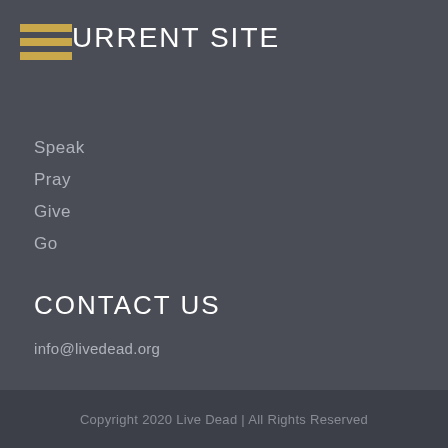CURRENT SITE
Speak
Pray
Give
Go
CONTACT US
info@livedead.org
Copyright 2020 Live Dead | All Rights Reserved